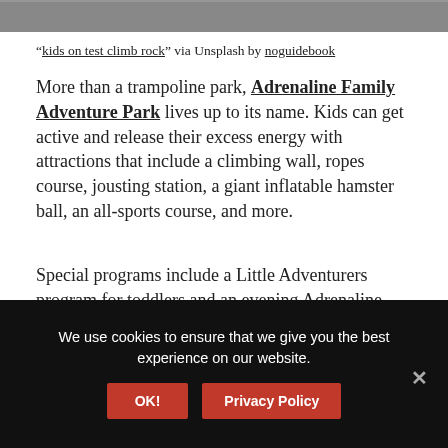[Figure (photo): Partial photo of kids on a climbing rock wall, cropped at the top]
“kids on test climb rock” via Unsplash by noguidebook
More than a trampoline park, Adrenaline Family Adventure Park lives up to its name. Kids can get active and release their excess energy with attractions that include a climbing wall, ropes course, jousting station, a giant inflatable hamster ball, an all-sports course, and more.
Special programs include a Little Adventurers program for toddlers and an evening Adrenaline RUSH Glow Party. This attraction offers facility rentals for birthday parties and special events.
Location: 10080 E. 121st St., Suite 182
We use cookies to ensure that we give you the best experience on our website.